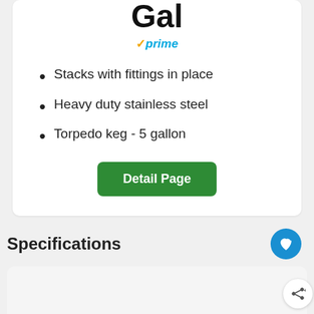Gal
✓prime
Stacks with fittings in place
Heavy duty stainless steel
Torpedo keg - 5 gallon
Specifications
WHAT'S NEXT → Chugger Pumps, Bee...